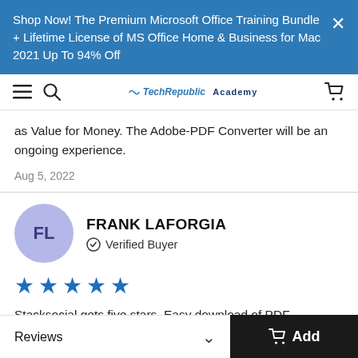Shop Now! The Premium Microsoft Office Training Bundle + Lifetime License of MS Office Home & Business for Mac 2021 Up To 94% Off
[Figure (screenshot): TechRepublic Academy navigation bar with hamburger menu, search icon, logo, and cart icon]
as Value for Money. The Adobe-PDF Converter will be an ongoing experience.
Aug 5, 2022
FRANK LAFORGIA
Verified Buyer
★★★★★
Stacksocial gets five stars. Easy download of PDF Converter Pro: Lifetime License. I have not used the program. I will rate the
Reviews  Add